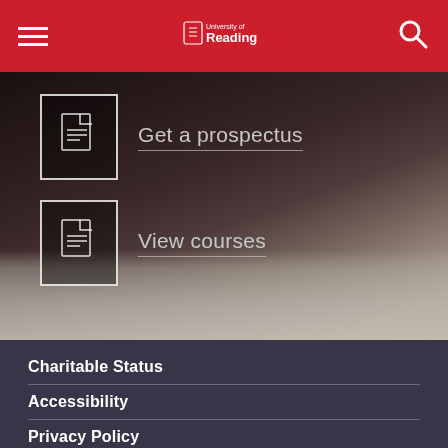University of Reading
[Figure (screenshot): Hero image of hands writing/handling papers on a desk, dark overlay, with two CTA buttons: 'Get a prospectus' and 'View courses', each with a document icon]
Charitable Status
Accessibility
Privacy Policy
Cookies